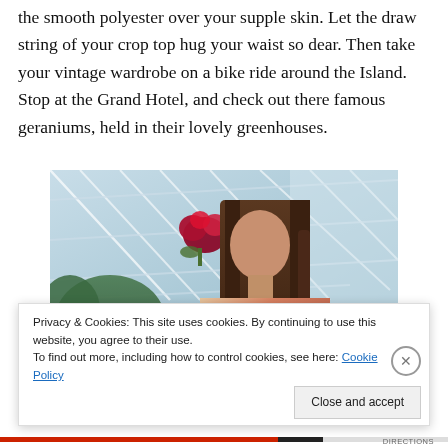the smooth polyester over your supple skin. Let the draw string of your crop top hug your waist so dear. Then take your vintage wardrobe on a bike ride around the Island. Stop at the Grand Hotel, and check out there famous geraniums, held in their lovely greenhouses.
[Figure (photo): A woman with long dark hair standing in a greenhouse with glass ceiling panels. She is wearing a floral patterned top. A red flower/geranium is visible in the background among the glass panels and green plants.]
Privacy & Cookies: This site uses cookies. By continuing to use this website, you agree to their use.
To find out more, including how to control cookies, see here: Cookie Policy